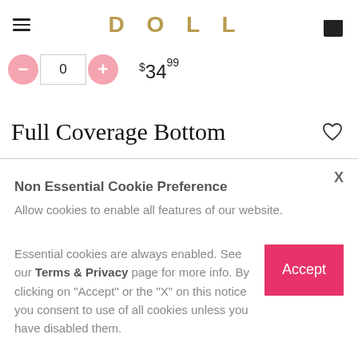DOLL
0   $34.99
Full Coverage Bottom
Non Essential Cookie Preference
Allow cookies to enable all features of our website.
Essential cookies are always enabled. See our Terms & Privacy page for more info. By clicking on "Accept" or the "X" on this notice you consent to use of all cookies unless you have disabled them.